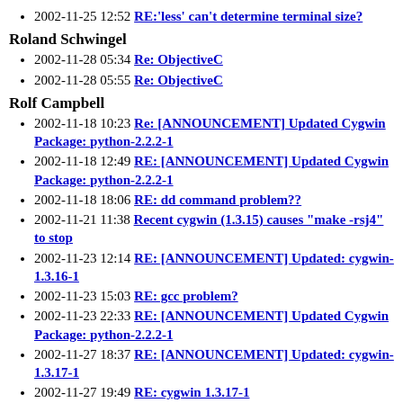2002-11-25 12:52 RE:'less' can't determine terminal size?
Roland Schwingel
2002-11-28 05:34 Re: ObjectiveC
2002-11-28 05:55 Re: ObjectiveC
Rolf Campbell
2002-11-18 10:23 Re: [ANNOUNCEMENT] Updated Cygwin Package: python-2.2.2-1
2002-11-18 12:49 RE: [ANNOUNCEMENT] Updated Cygwin Package: python-2.2.2-1
2002-11-18 18:06 RE: dd command problem??
2002-11-21 11:38 Recent cygwin (1.3.15) causes "make -rsj4" to stop
2002-11-23 12:14 RE: [ANNOUNCEMENT] Updated: cygwin-1.3.16-1
2002-11-23 15:03 RE: gcc problem?
2002-11-23 22:33 RE: [ANNOUNCEMENT] Updated Cygwin Package: python-2.2.2-1
2002-11-27 18:37 RE: [ANNOUNCEMENT] Updated: cygwin-1.3.17-1
2002-11-27 19:49 RE: cygwin 1.3.17-1
2002-11-29 06:50 RE: Cygwin official logo ?
2002-11-29 07:28 RE: Cygwin official logo ?